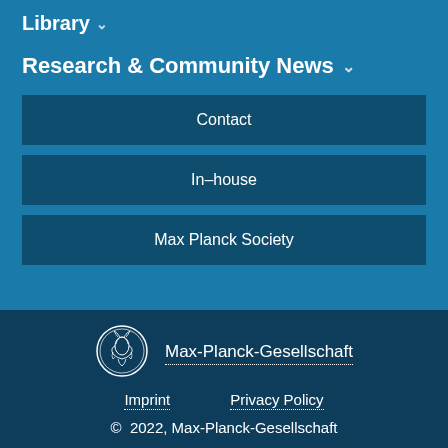Library ∨
Research & Community News ∨
Contact
In-house
Max Planck Society
[Figure (logo): Max-Planck-Gesellschaft circular coin/seal logo in outline style on dark blue background]
Max-Planck-Gesellschaft
Imprint   Privacy Policy
© 2022, Max-Planck-Gesellschaft